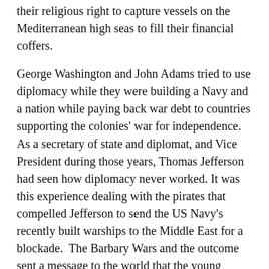their religious right to capture vessels on the Mediterranean high seas to fill their financial coffers.
George Washington and John Adams tried to use diplomacy while they were building a Navy and a nation while paying back war debt to countries supporting the colonies' war for independence. As a secretary of state and diplomat, and Vice President during those years, Thomas Jefferson had seen how diplomacy never worked. It was this experience dealing with the pirates that compelled Jefferson to send the US Navy's recently built warships to the Middle East for a blockade.  The Barbary Wars and the outcome sent a message to the world that the young country of the America would defend itself if needed. This sent the country on a journey where its elected leaders had a say on the world stage, and later used to full effect by President Teddy Roosevelt.